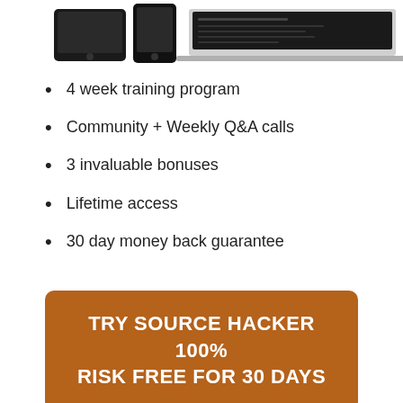[Figure (photo): Screenshot showing multiple devices: a tablet, smartphone, and laptop displaying a software/website interface]
4 week training program
Community + Weekly Q&A calls
3 invaluable bonuses
Lifetime access
30 day money back guarantee
TRY SOURCE HACKER 100% RISK FREE FOR 30 DAYS
Sites Peter Szabo has been featured on